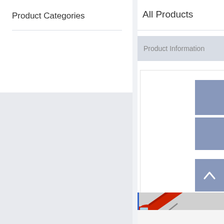Product Categories
All Products
Product Information
[Figure (photo): Thumbnail image placeholder 1 - blue/grey square]
[Figure (photo): Thumbnail image placeholder 2 - blue/grey square]
[Figure (photo): Red dump truck with raised bed, parked on tarmac, industrial setting]
[Figure (other): Up arrow navigation button on blue/grey background]